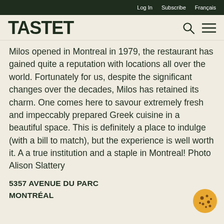Log In   Subscribe   Français
TASTET
Milos opened in Montreal in 1979, the restaurant has gained quite a reputation with locations all over the world. Fortunately for us, despite the significant changes over the decades, Milos has retained its charm. One comes here to savour extremely fresh and impeccably prepared Greek cuisine in a beautiful space. This is definitely a place to indulge (with a bill to match), but the experience is well worth it. A a true institution and a staple in Montreal! Photo Alison Slattery
5357 AVENUE DU PARC
MONTRÉAL